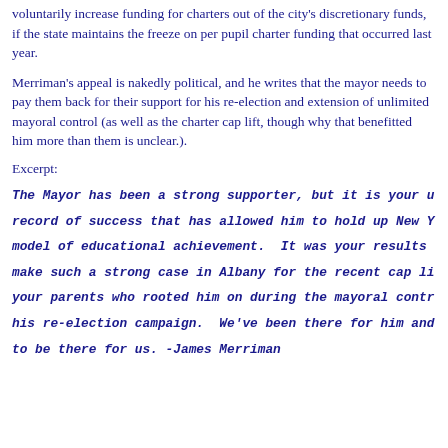voluntarily increase funding for charters out of the city's discretionary funds, if the state maintains the freeze on per pupil charter funding that occurred last year.
Merriman's appeal is nakedly political, and he writes that the mayor needs to pay them back for their support for his re-election and extension of unlimited mayoral control (as well as the charter cap lift, though why that benefitted him more than them is unclear.).
Excerpt:
The Mayor has been a strong supporter, but it is your u... record of success that has allowed him to hold up New Y... model of educational achievement.  It was your results ... make such a strong case in Albany for the recent cap li... your parents who rooted him on during the mayoral contr... his re-election campaign.  We've been there for him and... to be there for us. -James Merriman